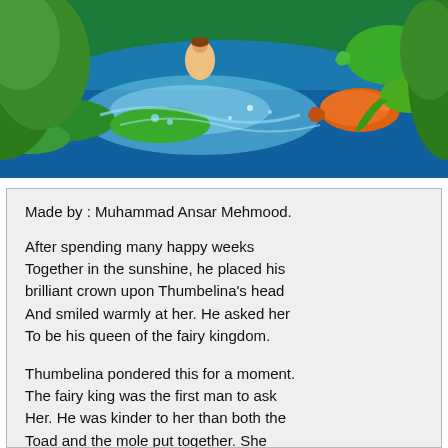[Figure (illustration): Colorful fantasy illustration showing a fairy tale water scene with lily pads, swirling water, colorful fish (orange and green), green chameleon or lizard, and a small figure (Thumbelina) in the background surrounded by lush green foliage.]
Made by : Muhammad Ansar Mehmood.
After spending many happy weeks Together in the sunshine, he placed his brilliant crown upon Thumbelina's head And smiled warmly at her. He asked her To be his queen of the fairy kingdom.
Thumbelina pondered this for a moment. The fairy king was the first man to ask Her. He was kinder to her than both the Toad and the mole put together. She agreed to be his queen.
Seeing how happy Thumbelina was in the fairy king's presence, the bird flew off and promised to return often